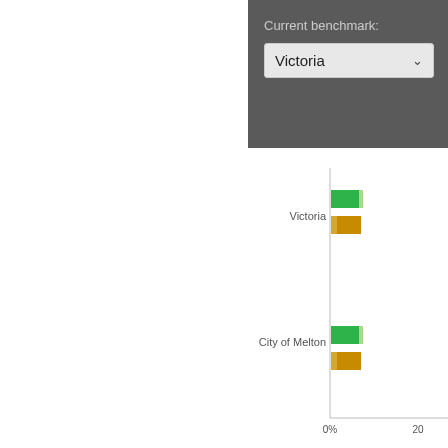Current benchmark:
Victoria
Sources of income p
City of Melton
[Figure (grouped-bar-chart): Horizontal grouped bar chart showing sources of income for Victoria and City of Melton. Two bars per group: Wages & salaries (green) and Cash benefits (gold/amber). x-axis shows 0% to 20%+.]